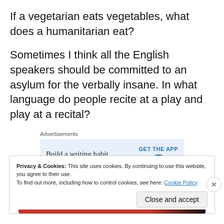If a vegetarian eats vegetables, what does a humanitarian eat?
Sometimes I think all the English speakers should be committed to an asylum for the verbally insane. In what language do people recite at a play and play at a recital?
[Figure (other): Advertisement box with WordPress logo. Text: 'Build a writing habit. Post on the go.' with 'GET THE APP' call to action.]
Privacy & Cookies: This site uses cookies. By continuing to use this website, you agree to their use.
To find out more, including how to control cookies, see here: Cookie Policy